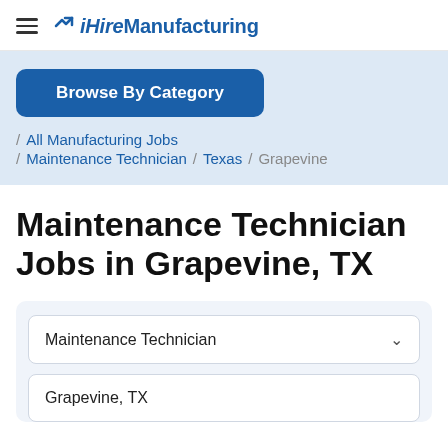iHireManufacturing
Browse By Category
/ All Manufacturing Jobs / Maintenance Technician / Texas / Grapevine
Maintenance Technician Jobs in Grapevine, TX
Maintenance Technician
Grapevine, TX